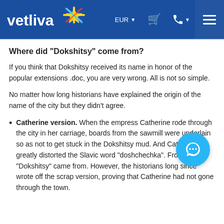vetliva | EUR | [cart] | [phone] | [menu]
Where did "Dokshitsy" come from?
If you think that Dokshitsy received its name in honor of the popular extensions .doc, you are very wrong. All is not so simple.
No matter how long historians have explained the origin of the name of the city but they didn't agree.
Catherine version. When the empress Catherine rode through the city in her carriage, boards from the sawmill were underlain so as not to get stuck in the Dokshitsy mud. And Catherine greatly distorted the Slavic word "doshchechka". From there "Dokshitsy" came from. However, the historians long since wrote off the scrap version, proving that Catherine had not gone through the town.